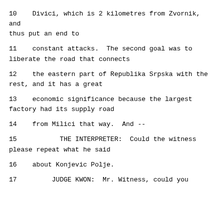10    Divici, which is 2 kilometres from Zvornik, and thus put an end to
11    constant attacks.  The second goal was to liberate the road that connects
12    the eastern part of Republika Srpska with the rest, and it has a great
13    economic significance because the largest factory had its supply road
14    from Milici that way.  And --
15           THE INTERPRETER:  Could the witness please repeat what he said
16    about Konjevic Polje.
17           JUDGE KWON:  Mr. Witness, could you